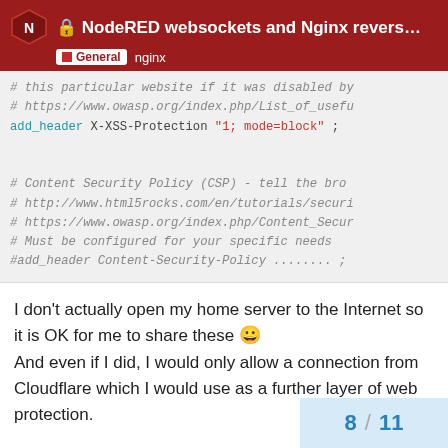NodeRED websockets and Nginx reverse pro... | General nginx
[Figure (screenshot): Code block showing nginx config comments and add_header X-XSS-Protection directive, then Content Security Policy comment block]
I don't actually open my home server to the Internet so it is OK for me to share these 😀
And even if I did, I would only allow a connection from Cloudflare which I would use as a further layer of web protection.
8 / 11